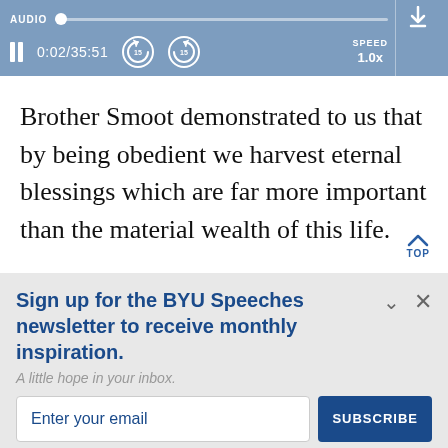[Figure (screenshot): Audio player UI with progress bar, pause button, time display 0:02/35:51, skip back/forward 15s buttons, speed 1.0x, and download button]
Brother Smoot demonstrated to us that by being obedient we harvest eternal blessings which are far more important than the material wealth of this life.
Sign up for the BYU Speeches newsletter to receive monthly inspiration.
A little hope in your inbox.
Enter your email
SUBSCRIBE